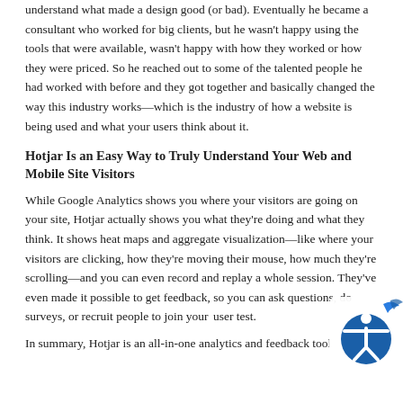understand what made a design good (or bad). Eventually he became a consultant who worked for big clients, but he wasn't happy using the tools that were available, wasn't happy with how they worked or how they were priced. So he reached out to some of the talented people he had worked with before and they got together and basically changed the way this industry works—which is the industry of how a website is being used and what your users think about it.
Hotjar Is an Easy Way to Truly Understand Your Web and Mobile Site Visitors
While Google Analytics shows you where your visitors are going on your site, Hotjar actually shows you what they're doing and what they think. It shows heat maps and aggregate visualization—like where your visitors are clicking, how they're moving their mouse, how much they're scrolling—and you can even record and replay a whole session. They've even made it possible to get feedback, so you can ask questions, do surveys, or recruit people to join you r user test.
In summary, Hotjar is an all-in-one analytics and feedback tool